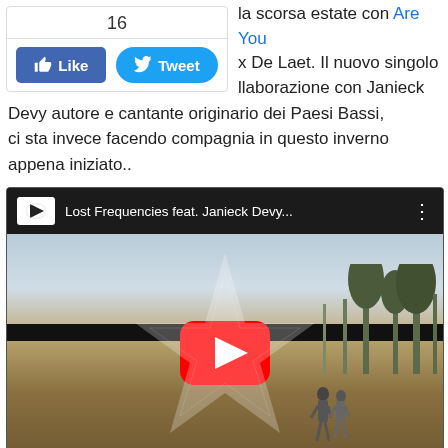la scorsa estate con Are You... x De Laet. Il nuovo singolo ...llaborazione con Janieck Devy autore e cantante originario dei Paesi Bassi, ci sta invece facendo compagnia in questo inverno appena iniziato..
[Figure (screenshot): YouTube video embed showing 'Lost Frequencies feat. Janieck Devy...' with Armata Records logo overlay and YouTube play button, outdoor landscape scene with two people walking.]